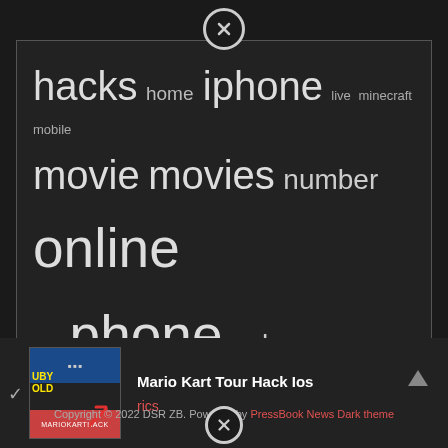[Figure (other): Close button (X in circle) at top center]
hacks home iphone live minecraft mobile movie movies number online papa phone pokemon roblox script sites start stream unblocked watch what with without your
[Figure (screenshot): Mario Kart Tour Hack Ios thumbnail image with ruby gold text and arrow]
Mario Kart Tour Hack Ios
rics
[Figure (other): Scroll up triangle arrow button]
Copyright © 2022 DSR ZB. Powered by PressBook News Dark theme
[Figure (other): Close button (X in circle) at bottom center]